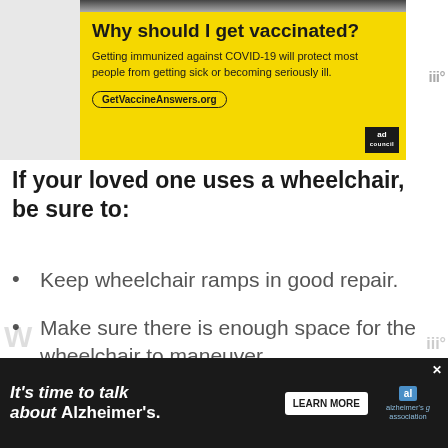[Figure (infographic): Yellow advertisement banner for COVID-19 vaccination. Title: 'Why should I get vaccinated?' Body: 'Getting immunized against COVID-19 will protect most people from getting sick or becoming seriously ill.' URL shown: GetVaccineAnswers.org. Ad Council logo bottom-right.]
If your loved one uses a wheelchair, be sure to:
Keep wheelchair ramps in good repair.
Make sure there is enough space for the wheelchair to maneuver.
[Figure (infographic): Dark background advertisement: 'It’s time to talk about Alzheimer’s.' with a Learn More button and Alzheimer's Association logo.]